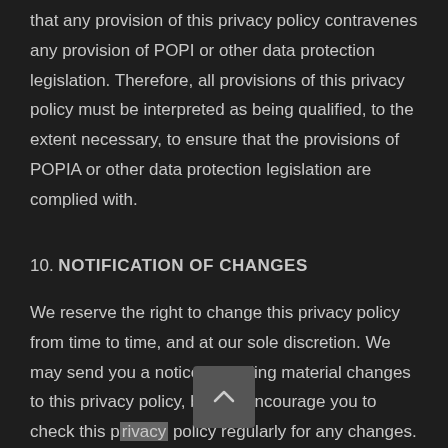that any provision of this privacy policy contravenes any provision of POPI or other data protection legislation. Therefore, all provisions of this privacy policy must be interpreted as being qualified, to the extent necessary, to ensure that the provisions of POPIA or other data protection legislation are complied with.
10. NOTIFICATION OF CHANGES
We reserve the right to change this privacy policy from time to time, and at our sole discretion. We may send you a notice regarding material changes to this privacy policy, but we encourage you to check this privacy policy regularly for any changes. If you provide us with personal information and/or continue to use our